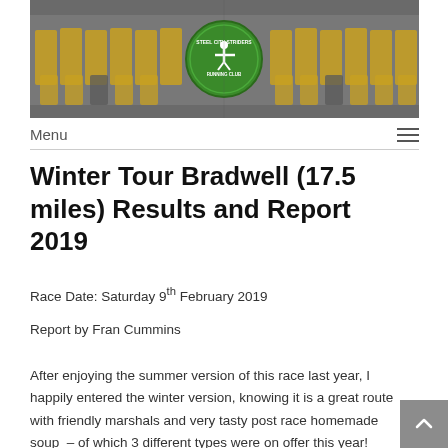[Figure (photo): Group photo of Steel City Striders Running Club members wearing yellow/orange running vests, in black and white background with green club logo in center]
Menu
Winter Tour Bradwell (17.5 miles) Results and Report 2019
Race Date: Saturday 9th February 2019
Report by Fran Cummins
After enjoying the summer version of this race last year, I happily entered the winter version, knowing it is a great route with friendly marshals and very tasty post race homemade soup  – of which 3 different types were on offer this year!  And all for £12, a real